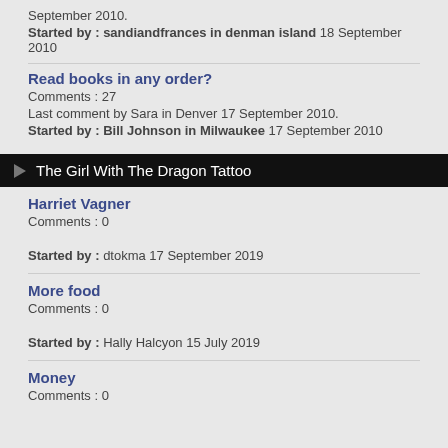September 2010.
Started by : sandiandfrances in denman island 18 September 2010
Read books in any order?
Comments : 27
Last comment by Sara in Denver 17 September 2010.
Started by : Bill Johnson in Milwaukee 17 September 2010
The Girl With The Dragon Tattoo
Harriet Vagner
Comments : 0
Started by : dtokma 17 September 2019
More food
Comments : 0
Started by : Hally Halcyon 15 July 2019
Money
Comments : 0